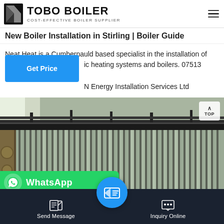TOBO BOILER — COST-EFFECTIVE BOILER SUPPLIER
New Boiler Installation in Stirling | Boiler Guide
Neat Heat is a Cumbernauld based specialist in the installation of domestic heating systems and boilers. 07513 782788 view N Energy Installation Services Ltd
[Figure (photo): Industrial boiler unit with corrugated metal casing inside a factory building, with pipes and industrial equipment visible. A 'TOP' return-to-top button overlay is in the upper right corner.]
[Figure (infographic): WhatsApp contact bar overlay (green background) showing WhatsApp logo icon and 'WhatsApp' text, overlaid on bottom of boiler photo.]
Send Message | Inquiry Online